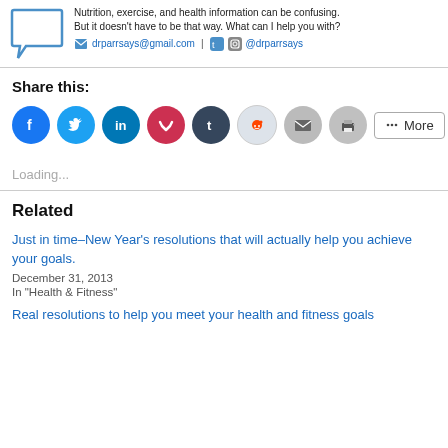[Figure (illustration): Speech bubble icon with contact info: drparrsays@gmail.com and @drparrsays with email, Twitter, and Instagram icons. Text reads: Nutrition, exercise, and health information can be confusing. But it doesn't have to be that way. What can I help you with?]
Share this:
[Figure (infographic): Row of social share icon buttons: Facebook, Twitter, LinkedIn, Pocket, Tumblr, Reddit, Email, Print, and a More button]
Loading...
Related
Just in time–New Year's resolutions that will actually help you achieve your goals.
December 31, 2013
In "Health & Fitness"
Real resolutions to help you meet your health and fitness goals